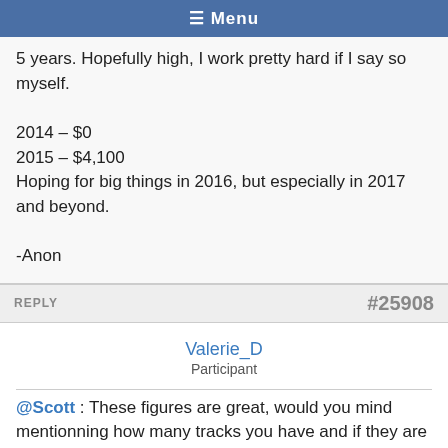Menu
5 years. Hopefully high, I work pretty hard if I say so myself.

2014 – $0
2015 – $4,100
Hoping for big things in 2016, but especially in 2017 and beyond.

-Anon
REPLY   #25908
Valerie_D
Participant
@Scott : These figures are great, would you mind mentionning how many tracks you have and if they are exclusives, non-exclusives or RF?

Thanks!